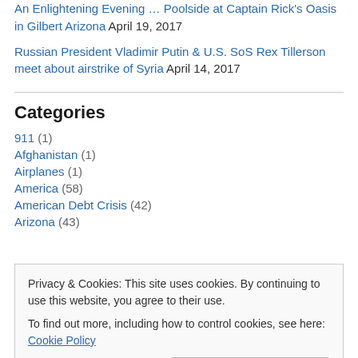An Enlightening Evening … Poolside at Captain Rick's Oasis in Gilbert Arizona April 19, 2017
Russian President Vladimir Putin & U.S. SoS Rex Tillerson meet about airstrike of Syria April 14, 2017
Categories
911 (1)
Afghanistan (1)
Airplanes (1)
America (58)
American Debt Crisis (42)
Arizona (43)
Privacy & Cookies: This site uses cookies. By continuing to use this website, you agree to their use.
To find out more, including how to control cookies, see here: Cookie Policy
Close and accept
Bashar al-Assad (2)